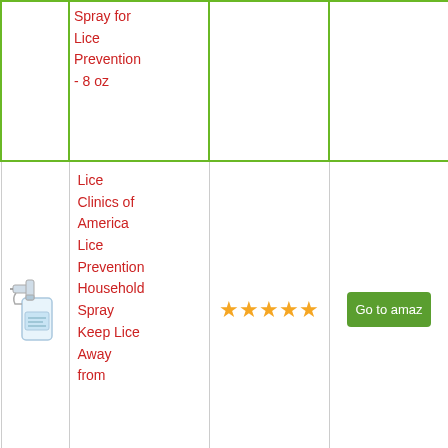| (image) | Product Name | Rating | Link |
| --- | --- | --- | --- |
|  | Spray for Lice Prevention - 8 oz |  |  |
| (spray bottle image) | Lice Clinics of America Lice Prevention Household Spray Keep Lice Away from | ★★★★★ | Go to amaz... |